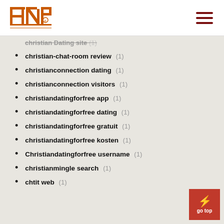INP logo and navigation menu
christian-chat-room review (1)
christianconnection dating (1)
christianconnection visitors (1)
christiandatingforfree app (1)
christiandatingforfree dating (1)
christiandatingforfree gratuit (1)
christiandatingforfree kosten (1)
Christiandatingforfree username (1)
christianmingle search (1)
chtit web (1)